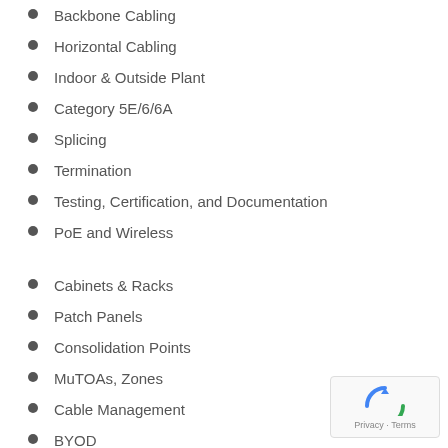Backbone Cabling
Horizontal Cabling
Indoor & Outside Plant
Category 5E/6/6A
Splicing
Termination
Testing, Certification, and Documentation
PoE and Wireless
Cabinets & Racks
Patch Panels
Consolidation Points
MuTOAs, Zones
Cable Management
BYOD
Digital Lighting Systems
IPTV, CCTV, IoT, and more